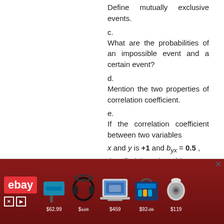Define mutually exclusive events.
c.
What are the probabilities of an impossible event and a certain event?
d.
Mention the two properties of correlation coefficient.
e.
If the correlation coefficient between two variables x and y is +1 and b_yx = 0.5, then find the value of b_yx.
f.
Define price index number and quantity index number.
g.
What do you mean by cost of living index number?
[Figure (other): eBay advertisement banner showing headphones, laptop, toolbag, and speaker products with prices $62.99, $128, $459, $92.35, $119]